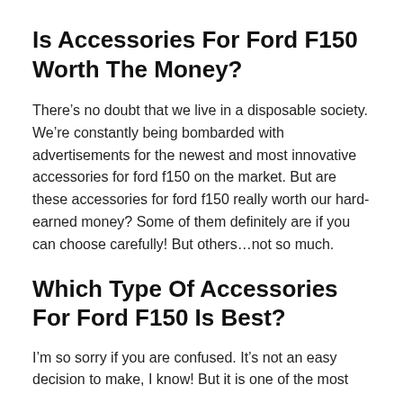Is Accessories For Ford F150 Worth The Money?
There’s no doubt that we live in a disposable society. We’re constantly being bombarded with advertisements for the newest and most innovative accessories for ford f150 on the market. But are these accessories for ford f150 really worth our hard-earned money? Some of them definitely are if you can choose carefully! But others…not so much.
Which Type Of Accessories For Ford F150 Is Best?
I’m so sorry if you are confused. It’s not an easy decision to make, I know! But it is one of the most